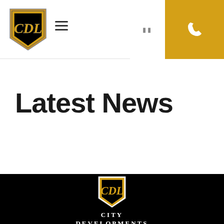[Figure (logo): City Developments Limited (CDL) gold and black shield logo in header]
[Figure (other): Hamburger menu icon (three horizontal lines)]
[Figure (other): Two small square icons in header right area]
[Figure (other): Gold phone/call button in top right corner with white phone icon]
Latest News
[Figure (logo): Large City Developments Limited (CDL) gold and black shield logo centered in black footer area]
City Developments